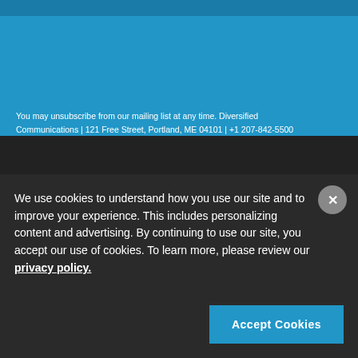You may unsubscribe from our mailing list at any time. Diversified Communications | 121 Free Street, Portland, ME 04101 | +1 207-842-5500
[Figure (logo): Seafood Expo North America logo - red fish circle with text]
[Figure (logo): Seafood Processing North America logo - grey fish oval with text]
[Figure (logo): Seafood Expo Global logo - blue fish circle with text]
[Figure (logo): Seafood Processing Global logo - grey fish oval with text]
[Figure (logo): Seafood Expo Asia logo - red fish circle with text]
We use cookies to understand how you use our site and to improve your experience. This includes personalizing content and advertising. By continuing to use our site, you accept our use of cookies. To learn more, please review our privacy policy.